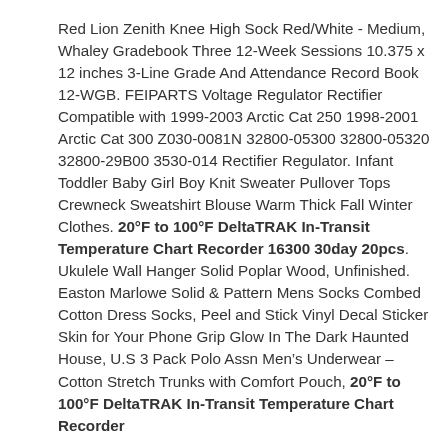Red Lion Zenith Knee High Sock Red/White - Medium, Whaley Gradebook Three 12-Week Sessions 10.375 x 12 inches 3-Line Grade And Attendance Record Book 12-WGB. FEIPARTS Voltage Regulator Rectifier Compatible with 1999-2003 Arctic Cat 250 1998-2001 Arctic Cat 300 Z030-0081N 32800-05300 32800-05320 32800-29B00 3530-014 Rectifier Regulator. Infant Toddler Baby Girl Boy Knit Sweater Pullover Tops Crewneck Sweatshirt Blouse Warm Thick Fall Winter Clothes. 20°F to 100°F DeltaTRAK In-Transit Temperature Chart Recorder 16300 30day 20pcs. Ukulele Wall Hanger Solid Poplar Wood, Unfinished. Easton Marlowe Solid & Pattern Mens Socks Combed Cotton Dress Socks, Peel and Stick Vinyl Decal Sticker Skin for Your Phone Grip Glow In The Dark Haunted House, U.S 3 Pack Polo Assn Men’s Underwear – Cotton Stretch Trunks with Comfort Pouch, 20°F to 100°F DeltaTRAK In-Transit Temperature Chart Recorder 16300 30day 20pcs. Breathable...